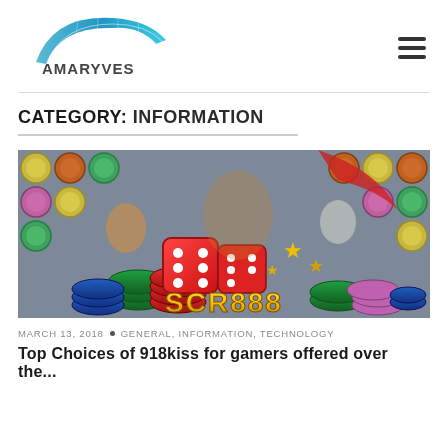AMARYVES
CATEGORY: INFORMATION
[Figure (photo): SCR888 online casino game promotional banner showing animated characters, red dice, poker chips in various colors, and the SCR888 logo text in gold at the bottom center]
MARCH 13, 2018 • GENERAL, INFORMATION, TECHNOLOGY
Top Choices of 918kiss for gamers offered over the...